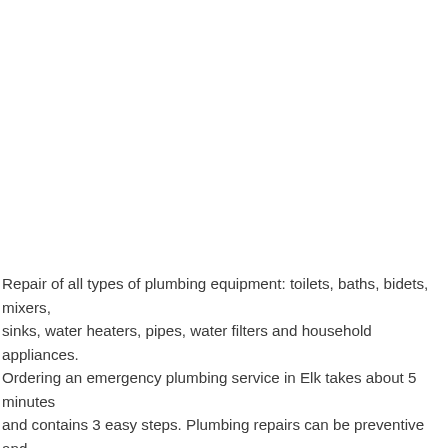Repair of all types of plumbing equipment: toilets, baths, bidets, mixers, sinks, water heaters, pipes, water filters and household appliances. Ordering an emergency plumbing service in Elk takes about 5 minutes and contains 3 easy steps. Plumbing repairs can be preventive and emergency. It is preferable not to joke with water, especially if you live in an apartment building, since a flood in an apartment building is an extremely unpleasant event. .